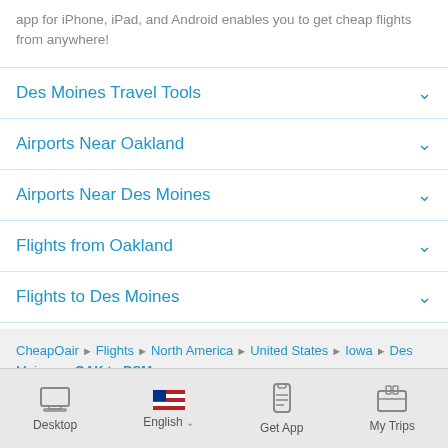app for iPhone, iPad, and Android enables you to get cheap flights from anywhere!
Des Moines Travel Tools
Airports Near Oakland
Airports Near Des Moines
Flights from Oakland
Flights to Des Moines
CheapOair › Flights › North America › United States › Iowa › Des Moines › OAK to DSM
Desktop | English | Get App | My Trips